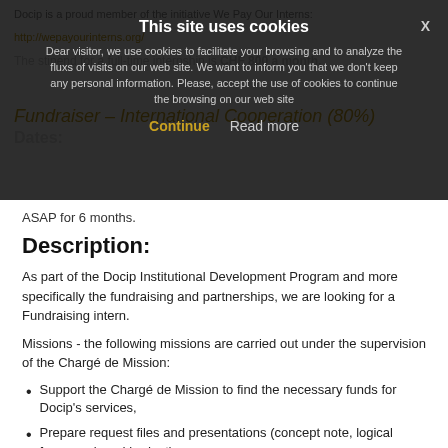Docip is a proud member of the initiative We Pay Our Interns:
http://wepayourinterns.org/
The stipend for a full-time internship is CHF 800 a month.
Fundraiser – International Cooperation (80%)
Dates:
Dear visitor, we use cookies to facilitate your browsing and to analyze the fluxs of visits on our web site. We want to inform you that we don't keep any personal information. Please, accept the use of cookies to continue the browsing on our web site
Continue   Read more
ASAP for 6 months.
Description:
As part of the Docip Institutional Development Program and more specifically the fundraising and partnerships, we are looking for a Fundraising intern.
Missions - the following missions are carried out under the supervision of the Chargé de Mission:
Support the Chargé de Mission to find the necessary funds for Docip's services,
Prepare request files and presentations (concept note, logical framework and budget)
Research and analyze potential partners and alternative sources of funds